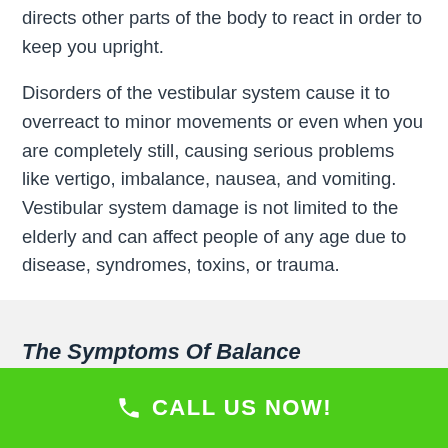directs other parts of the body to react in order to keep you upright.
Disorders of the vestibular system cause it to overreact to minor movements or even when you are completely still, causing serious problems like vertigo, imbalance, nausea, and vomiting. Vestibular system damage is not limited to the elderly and can affect people of any age due to disease, syndromes, toxins, or trauma.
The Symptoms Of Balance
CALL US NOW!